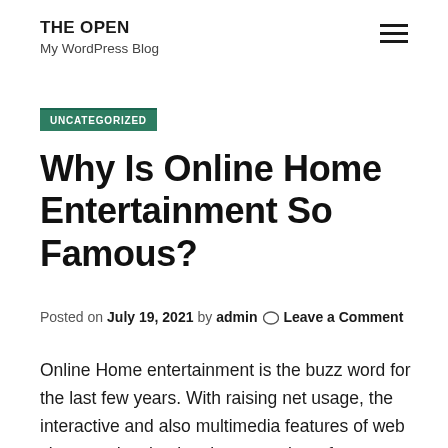THE OPEN
My WordPress Blog
UNCATEGORIZED
Why Is Online Home Entertainment So Famous?
Posted on July 19, 2021 by admin 💬 Leave a Comment
Online Home entertainment is the buzz word for the last few years. With raising net usage, the interactive and also multimedia features of web sites are drawing in a large number of users with the internet. Currently days, individuals have their own preferences to websites, games as well as applications. They not just want to access the facility at inexpensive prices yet also to make their experience a lot more enjoyable. On the internet